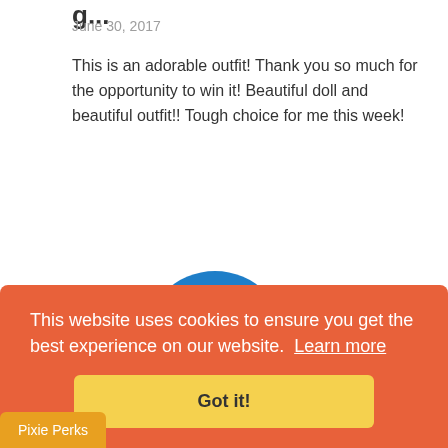June 30, 2017
This is an adorable outfit! Thank you so much for the opportunity to win it! Beautiful doll and beautiful outfit!! Tough choice for me this week!
[Figure (logo): Blue circular power button icon logo]
This website uses cookies to ensure you get the best experience on our website.  Learn more
Got it!
Pixie Perks